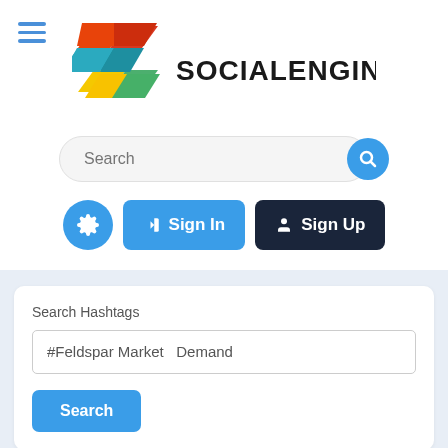[Figure (logo): SocialEngine logo: colorful geometric S-shape made of orange, red, teal, yellow, and green rhombus shapes, next to bold text SOCIALENGINE]
[Figure (screenshot): Search bar with rounded pill shape, Search placeholder text, and blue circular search button with magnifying glass icon]
[Figure (screenshot): Three action buttons: blue gear icon circle, blue Sign In button with arrow icon, dark navy Sign Up button with user icon]
Search Hashtags
#Feldspar Market  Demand
Search